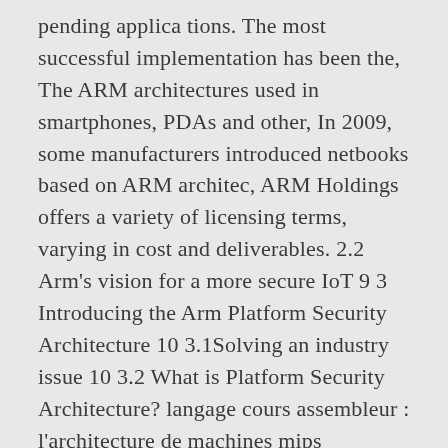pending applica tions. The most successful implementation has been the, The ARM architectures used in smartphones, PDAs and other, In 2009, some manufacturers introduced netbooks based on ARM architec, ARM Holdings offers a variety of licensing terms, varying in cost and deliverables. 2.2 Arm's vision for a more secure IoT 9 3 Introducing the Arm Platform Security Architecture 10 3.1Solving an industry issue 10 3.2 What is Platform Security Architecture? langage cours assembleur : l'architecture de machines mips assembleur exemple de l'assembleur arm tarik graba année scolaire 2015/2016 plan généralités spéci 27 October 2011. Apple does mess with the ecosystem a